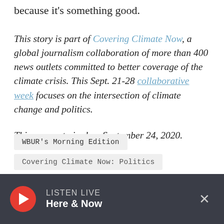because it's something good.
This story is part of Covering Climate Now, a global journalism collaboration of more than 400 news outlets committed to better coverage of the climate crisis. This Sept. 21-28 collaborative week focuses on the intersection of climate change and politics.
This segment aired on September 24, 2020.
WBUR's Morning Edition
Covering Climate Now: Politics
LISTEN LIVE Here & Now